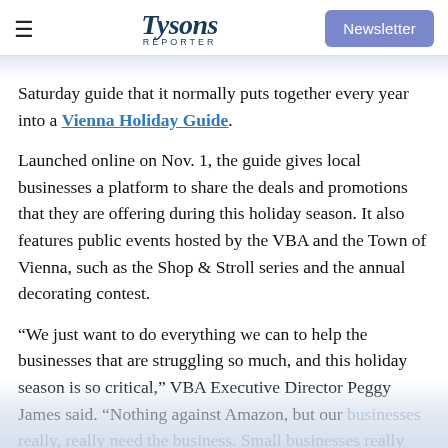Tysons Reporter | Newsletter
Saturday guide that it normally puts together every year into a Vienna Holiday Guide.
Launched online on Nov. 1, the guide gives local businesses a platform to share the deals and promotions that they are offering during this holiday season. It also features public events hosted by the VBA and the Town of Vienna, such as the Shop & Stroll series and the annual decorating contest.
“We just want to do everything we can to help the businesses that are struggling so much, and this holiday season is so critical,” VBA Executive Director Peggy James said. “Nothing against Amazon, but our businesses really, really need the business. Small businesses really need the business, so it just seemed like a nice thing to do.”